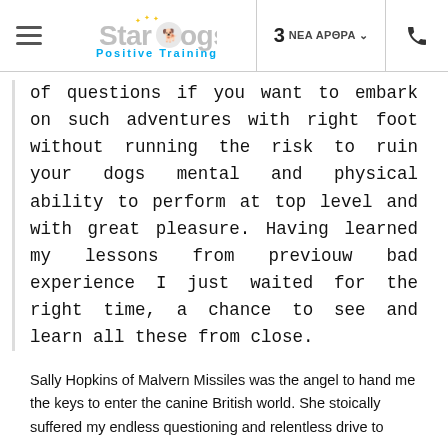StarDogs Positive Training | 3 ΝΕΑ ΑΡΘΡΑ
of questions if you want to embark on such adventures with right foot without running the risk to ruin your dogs mental and physical ability to perform at top level and with great pleasure. Having learned my lessons from previouw bad experience I just waited for the right time, a chance to see and learn all these from close.
Sally Hopkins of Malvern Missiles was the angel to hand me the keys to enter the canine British world. She stoically suffered my endless questioning and relentless drive to